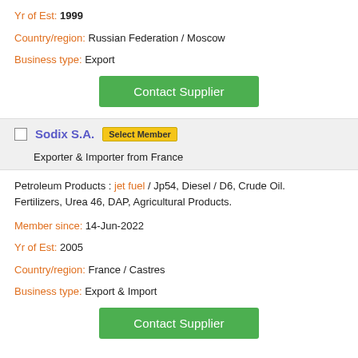Yr of Est: 1999
Country/region: Russian Federation / Moscow
Business type: Export
Contact Supplier
Sodix S.A. | Select Member
Exporter & Importer from France
Petroleum Products : jet fuel / Jp54, Diesel / D6, Crude Oil. Fertilizers, Urea 46, DAP, Agricultural Products.
Member since: 14-Jun-2022
Yr of Est: 2005
Country/region: France / Castres
Business type: Export & Import
Contact Supplier